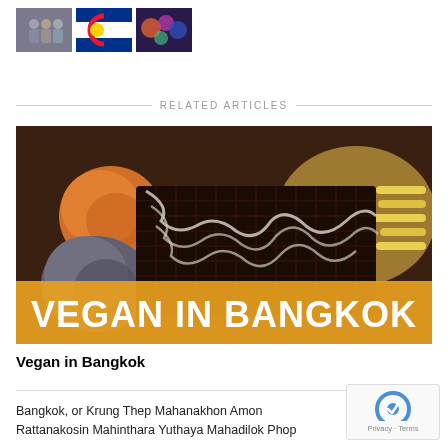[Figure (photo): Three small thumbnail images: a group of people, a Colorado state flag, and a colorful abstract image]
RELATED ARTICLES
[Figure (photo): Photo of vegan food including colorful ice cream scoops and a dark chocolate waffle dessert on a plate, with orange banner overlay reading VEGAN IN BANGKOK]
Vegan in Bangkok
Bangkok, or Krung Thep Mahanakhon Amon Rattanakosin Mahinthara Yuthaya Mahadilok Phop